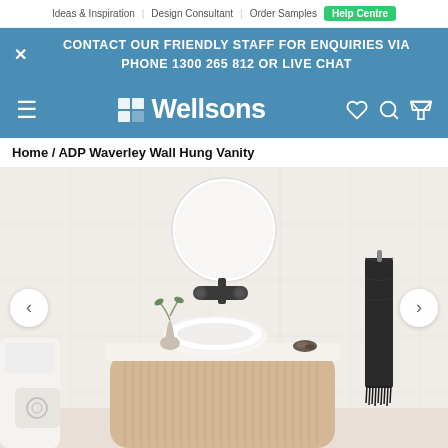Ideas & Inspiration | Design Consultant | Order Samples | Help Centre
CONTACT OUR FRIENDLY STAFF FOR ENQUIRIES VIA PHONE 1300 265 812 OR LIVE CHAT
Wellsons
Home / ADP Waverley Wall Hung Vanity
[Figure (photo): Bathroom scene showing a wall-hung wooden vanity with fluted panel door, white vessel basin on top, round mirror mounted on white tiled wall, dark wall-mounted tap, small decorative vase with plant sprig, dark towel hanging on right side wall, toilet partially visible on left. Carousel navigation arrows on left and right sides.]